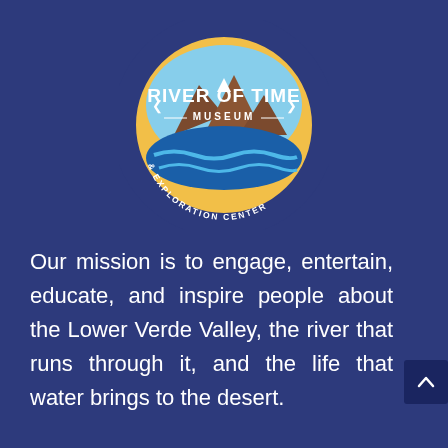[Figure (logo): River of Time Museum & Exploration Center circular logo with mountains, river, sun/yellow circle, and text]
Our mission is to engage, entertain, educate, and inspire people about the Lower Verde Valley, the river that runs through it, and the life that water brings to the desert.